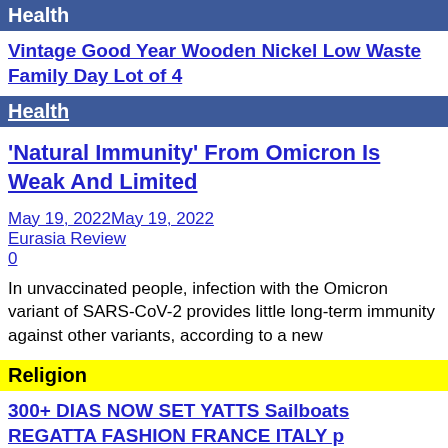Health
Vintage Good Year Wooden Nickel Low Waste Family Day Lot of 4
Health
‘Natural Immunity’ From Omicron Is Weak And Limited
May 19, 2022May 19, 2022
Eurasia Review
0
In unvaccinated people, infection with the Omicron variant of SARS-CoV-2 provides little long-term immunity against other variants, according to a new
Religion
300+ DIAS NOW SET YATTS Sailboats REGATTA FASHION FRANCE ITALY p
1895 The Defender March Sheet Music Bart E Grady Yacht